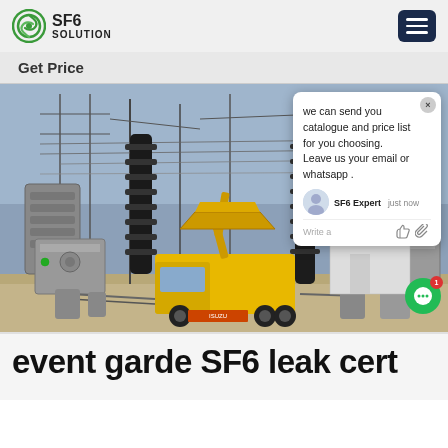SF6 SOLUTION
Get Price
[Figure (photo): Electrical substation with high-voltage transmission equipment, insulators, and a yellow ISUZU utility truck with a cherry picker/aerial platform. The truck is parked among large electrical transformers and power line infrastructure. A live chat popup is overlaid on the image from 'SF6 Expert' saying: 'we can send you catalogue and price list for you choosing. Leave us your email or whatsapp .']
event garde SF6 leak cert